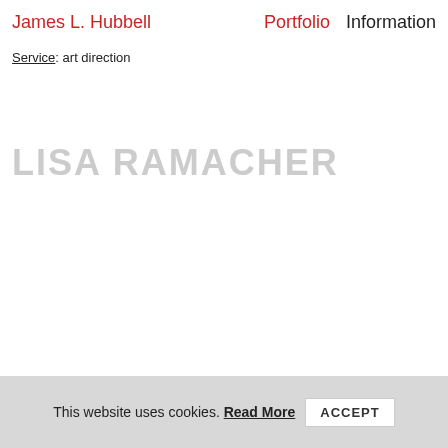James L. Hubbell   Portfolio   Information
Service: art direction
LISA RAMACHER
This website uses cookies. Read More  ACCEPT